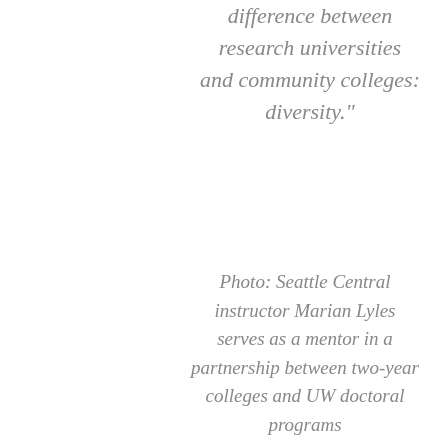difference between research universities and community colleges: diversity."
Photo: Seattle Central instructor Marian Lyles serves as a mentor in a partnership between two-year colleges and UW doctoral programs